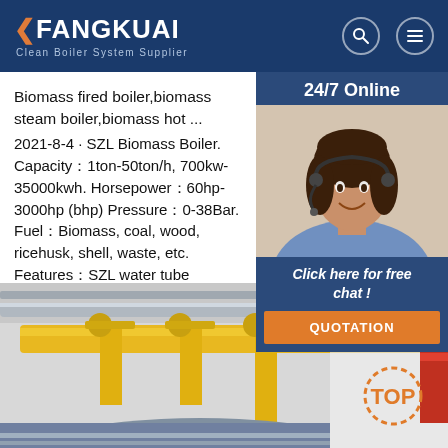FANGKUAI — Clean Boiler System Supplier
Biomass fired boiler,biomass steam boiler,biomass hot ...
2021-8-4 · SZL Biomass Boiler. Capacity：1ton-50ton/h, 700kw-35000kwh. Horsepower：60hp-3000hp (bhp) Pressure：0-38Bar. Fuel：Biomass, coal, wood, ricehusk, shell, waste, etc. Features：SZL water tube biomass boiler, water membrane structure. high technology & e
[Figure (photo): Customer service agent (woman with headset) with 24/7 Online badge and chat widget]
Click here for free chat !
QUOTATION
[Figure (photo): Industrial boiler facility interior with yellow pipes and equipment, with TOP badge overlay]